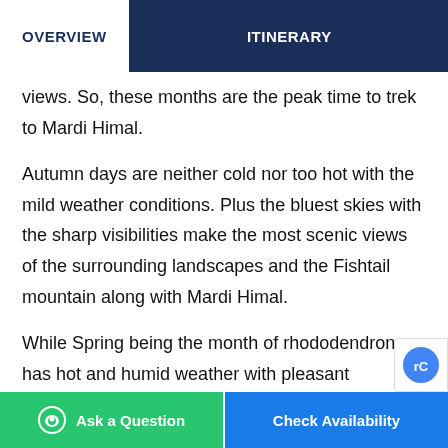OVERVIEW | ITINERARY
views. So, these months are the peak time to trek to Mardi Himal.
Autumn days are neither cold nor too hot with the mild weather conditions. Plus the bluest skies with the sharp visibilities make the most scenic views of the surrounding landscapes and the Fishtail mountain along with Mardi Himal.
While Spring being the month of rhododendron has hot and humid weather with pleasant surrounding views. In this season, the visibility is the sharpest so it is the best time to capture the best shots of forests, village
Ask a Question | Check Availability